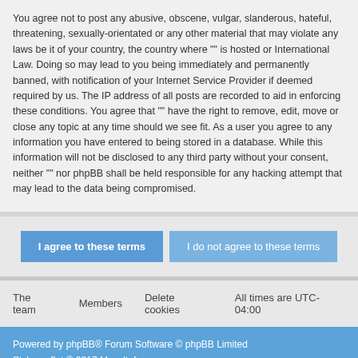You agree not to post any abusive, obscene, vulgar, slanderous, hateful, threatening, sexually-orientated or any other material that may violate any laws be it of your country, the country where "" is hosted or International Law. Doing so may lead to you being immediately and permanently banned, with notification of your Internet Service Provider if deemed required by us. The IP address of all posts are recorded to aid in enforcing these conditions. You agree that "" have the right to remove, edit, move or close any topic at any time should we see fit. As a user you agree to any information you have entered to being stored in a database. While this information will not be disclosed to any third party without your consent, neither "" nor phpBB shall be held responsible for any hacking attempt that may lead to the data being compromised.
I agree to these terms | I do not agree to these terms
The team   Members   Delete cookies   All times are UTC-04:00
Powered by phpBB® Forum Software © phpBB Limited
Style proflat © 2017 Mazeltof
Privacy | Terms